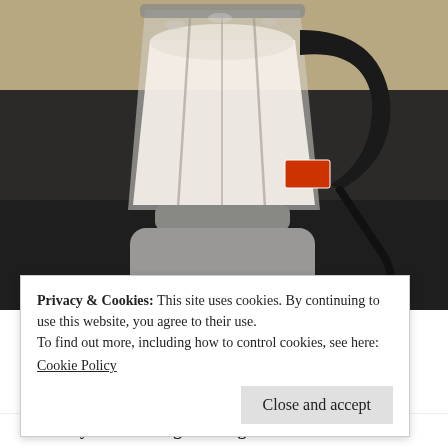[Figure (photo): A blender full of a white creamy liquid (likely nut milk) sitting on a kitchen countertop. The blender is silver/metallic with a black handle and power cord visible to the right.]
Privacy & Cookies: This site uses cookies. By continuing to use this website, you agree to their use.
To find out more, including how to control cookies, see here:
Cookie Policy
Close and accept
5. Place your milk bag in a large bowl. Pour